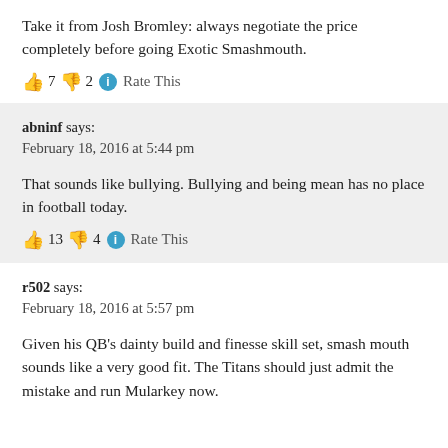Take it from Josh Bromley: always negotiate the price completely before going Exotic Smashmouth.
👍 7 👎 2 ℹ Rate This
abninf says:
February 18, 2016 at 5:44 pm
That sounds like bullying. Bullying and being mean has no place in football today.
👍 13 👎 4 ℹ Rate This
r502 says:
February 18, 2016 at 5:57 pm
Given his QB's dainty build and finesse skill set, smash mouth sounds like a very good fit. The Titans should just admit the mistake and run Mularkey now.